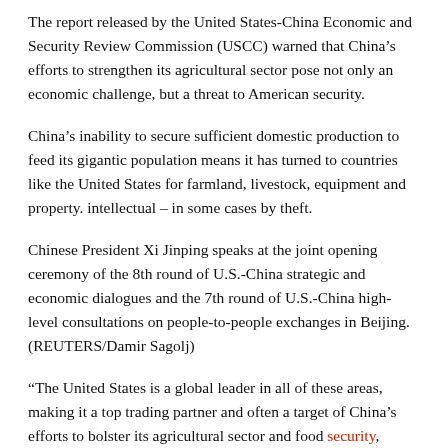The report released by the United States-China Economic and Security Review Commission (USCC) warned that China's efforts to strengthen its agricultural sector pose not only an economic challenge, but a threat to American security.
China's inability to secure sufficient domestic production to feed its gigantic population means it has turned to countries like the United States for farmland, livestock, equipment and property. intellectual – in some cases by theft.
Chinese President Xi Jinping speaks at the joint opening ceremony of the 8th round of U.S.-China strategic and economic dialogues and the 7th round of U.S.-China high-level consultations on people-to-people exchanges in Beijing. (REUTERS/Damir Sagolj)
“The United States is a global leader in all of these areas, making it a top trading partner and often a target of China’s efforts to bolster its agricultural sector and food security, sometimes